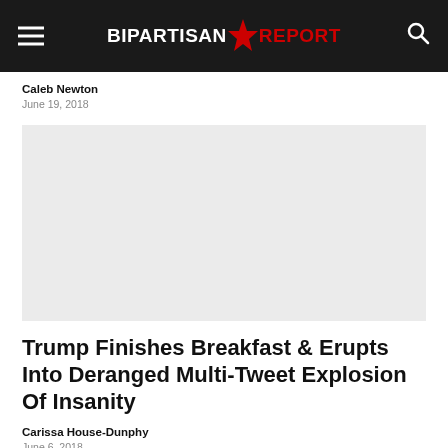BIPARTISAN REPORT
Caleb Newton
June 19, 2018
[Figure (photo): Light gray placeholder image for an article]
Trump Finishes Breakfast & Erupts Into Deranged Multi-Tweet Explosion Of Insanity
Carissa House-Dunphy
June 6, 2018